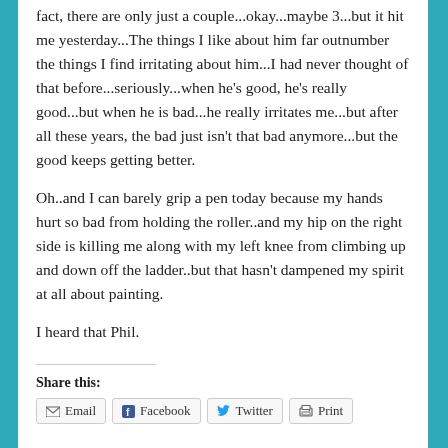fact, there are only just a couple...okay...maybe 3...but it hit me yesterday...The things I like about him far outnumber the things I find irritating about him...I had never thought of that before...seriously...when he's good, he's really good...but when he is bad...he really irritates me...but after all these years, the bad just isn't that bad anymore...but the good keeps getting better.
Oh..and I can barely grip a pen today because my hands hurt so bad from holding the roller..and my hip on the right side is killing me along with my left knee from climbing up and down off the ladder..but that hasn't dampened my spirit at all about painting.
I heard that Phil.
Share this:
Email  Facebook  Twitter  Print